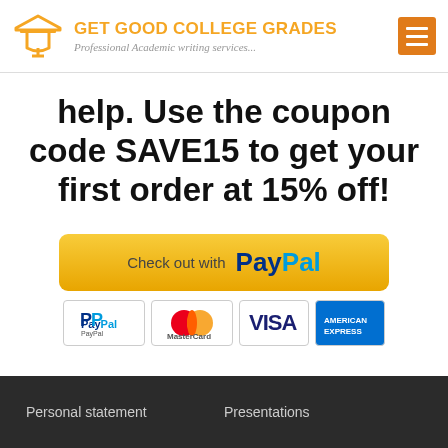GET GOOD COLLEGE GRADES — Professional Academic writing services...
help. Use the coupon code SAVE15 to get your first order at 15% off!
[Figure (infographic): PayPal checkout button (gold/yellow rounded rectangle) with text 'Check out with PayPal', followed by payment icons: PayPal, MasterCard, Visa, American Express]
Personal statement   Presentations